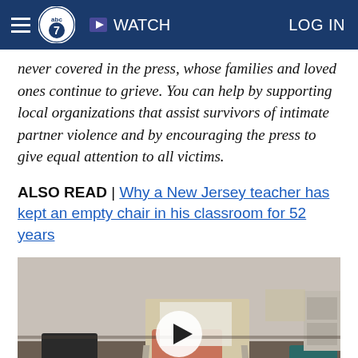ABC7 | WATCH | LOG IN
never covered in the press, whose families and loved ones continue to grieve. You can help by supporting local organizations that assist survivors of intimate partner violence and by encouraging the press to give equal attention to all victims.
ALSO READ | Why a New Jersey teacher has kept an empty chair in his classroom for 52 years
[Figure (photo): Classroom photo showing an empty chair next to a school desk, with other students' chairs and desks visible in the background. A video play button overlay is centered on the image.]